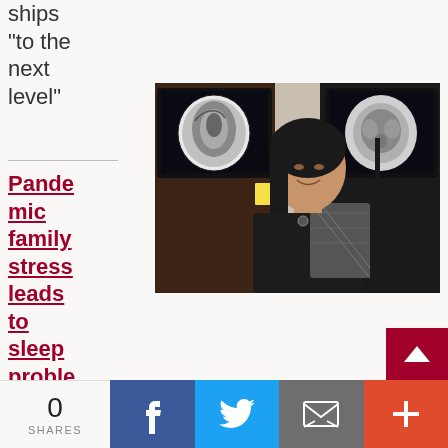relation
ships
"to the
next
level"
Pandemic family stress leads to sleep problems for boys
[Figure (photo): A young Asian woman smiling, seated in front of two computer monitors displaying brain MRI scans.]
Adolescent girls and boys
0 SHARES  [Facebook] [Twitter] [Email] [+]